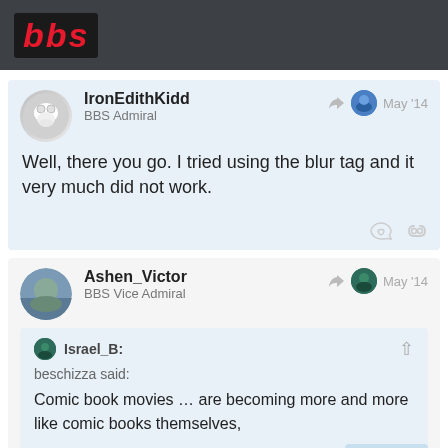bbs
IronEdithKidd
BBS Admiral
May '14
Well, there you go. I tried using the blur tag and it very much did not work.
Ashen_Victor
BBS Vice Admiral
May '14
Israel_B:
beschizza said:
Comic book movies … are becoming more and more like comic books themselves,
I see this as a net positive.
21/37